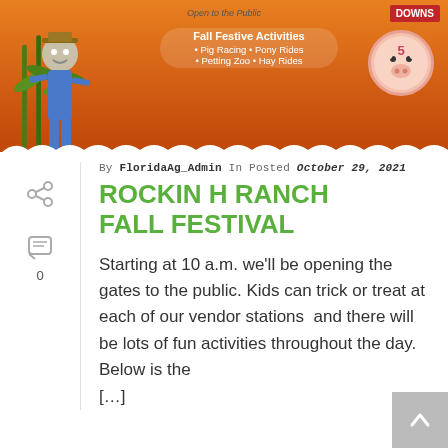[Figure (illustration): Fall festival banner with scarecrow, pig illustration, corn, orange autumn background. Text reads 'Open to the Public', 'Fall Festive Activities', 'Pig Racing • Pony Rides', 'Petting Zoo • Hay Rides', 'DOWNS 5']
By FloridaAg_Admin In Posted October 29, 2021
ROCKIN H RANCH FALL FESTIVAL
Starting at 10 a.m. we'll be opening the gates to the public. Kids can trick or treat at each of our vendor stations  and there will be lots of fun activities throughout the day. Below is the [...]